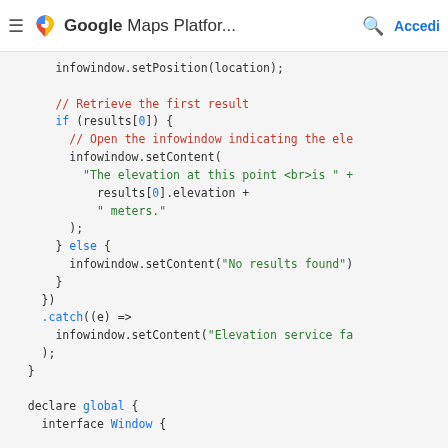Google Maps Platfor... Accedi
[Figure (screenshot): Google Maps Platform documentation page showing JavaScript code snippet with syntax highlighting. Code includes infowindow.setPosition(location), comment '// Retrieve the first result', if/else block with infowindow.setContent calls showing elevation result or 'No results found', .catch handler for Elevation service failure, closing brace, and 'declare global { interface Window {' at the bottom.]